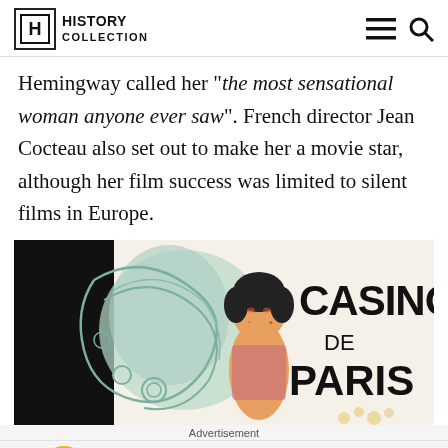History Collection
Hemingway called her “the most sensational woman anyone ever saw”. French director Jean Cocteau also set out to make her a movie star, although her film success was limited to silent films in Europe.
[Figure (illustration): Casino de Paris vintage illustrated poster showing an Art Nouveau styled woman with flowing hair alongside bold text reading CASINO DE PARIS]
Advertisement
Lidl Groceries Are Low-Priced
Lidl